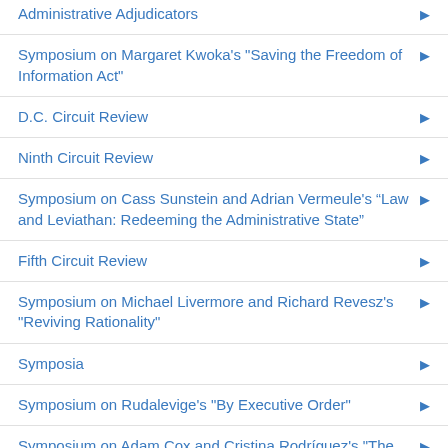Administrative Adjudicators
Symposium on Margaret Kwoka's "Saving the Freedom of Information Act"
D.C. Circuit Review
Ninth Circuit Review
Symposium on Cass Sunstein and Adrian Vermeule's “Law and Leviathan: Redeeming the Administrative State”
Fifth Circuit Review
Symposium on Michael Livermore and Richard Revesz's "Reviving Rationality"
Symposia
Symposium on Rudalevige's "By Executive Order"
Symposium on Adam Cox and Cristina Rodríguez's "The President and Immigration Law"